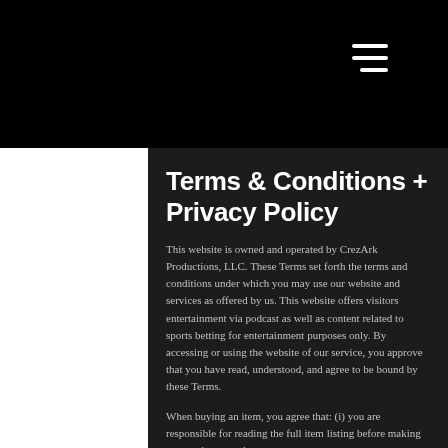≡ (hamburger menu icon)
Terms & Conditions + Privacy Policy
This website is owned and operated by CrezArk Productions, LLC. These Terms set forth the terms and conditions under which you may use our website and services as offered by us. This website offers visitors entertainment via podcast as well as content related to sports betting for entertainment purposes only. By accessing or using the website of our service, you approve that you have read, understood, and agree to be bound by these Terms.
When buying an item, you agree that: (i) you are responsible for reading the full item listing before making a commitment to buy